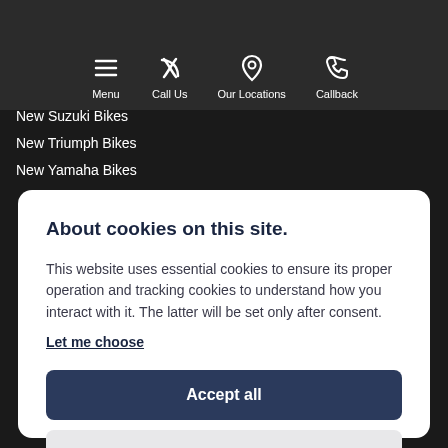Menu | Call Us | Our Locations | Callback
New Suzuki Bikes
New Triumph Bikes
New Yamaha Bikes
About cookies on this site.
This website uses essential cookies to ensure its proper operation and tracking cookies to understand how you interact with it. The latter will be set only after consent.
Let me choose
Accept all
Reject all